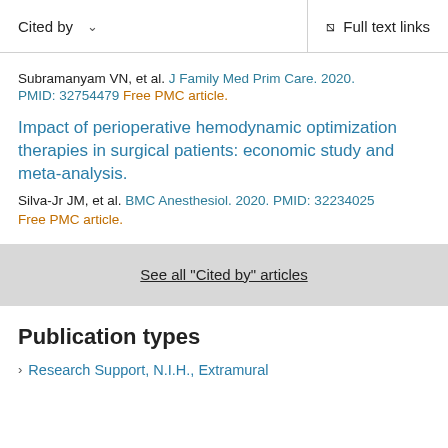Cited by    Full text links
Subramanyam VN, et al. J Family Med Prim Care. 2020. PMID: 32754479 Free PMC article.
Impact of perioperative hemodynamic optimization therapies in surgical patients: economic study and meta-analysis.
Silva-Jr JM, et al. BMC Anesthesiol. 2020. PMID: 32234025 Free PMC article.
See all "Cited by" articles
Publication types
Research Support, N.I.H., Extramural